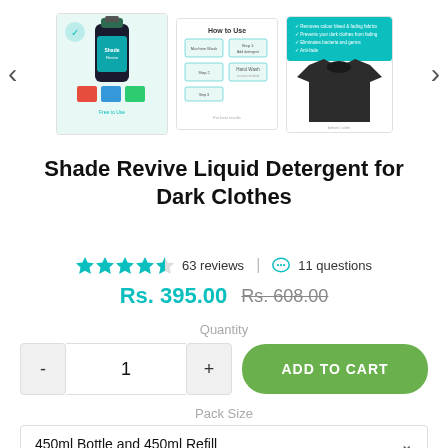[Figure (screenshot): Product image carousel showing three thumbnail images of Shade Revive Liquid Detergent: product bottle on left, usage instructions in center, dark t-shirt on right. Navigation arrows on left and right sides.]
Shade Revive Liquid Detergent for Dark Clothes
4.5 stars  63 reviews | 11 questions
Rs. 395.00  Rs. 608.00
Quantity
- 1 + ADD TO CART
Pack Size
450ml Bottle and 450ml Refill